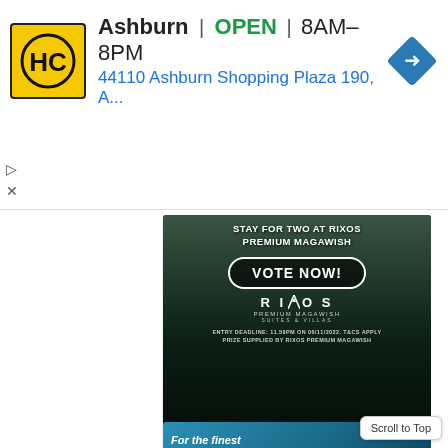[Figure (screenshot): Google ad banner for HC (Haverty's/Home store) showing location: Ashburn, OPEN 8AM-8PM, address: 44110 Ashburn Shopping Plaza 190, A...]
▷
×
[Figure (photo): Rixos Premium Magawish hotel aerial pool view with promotional overlay: STAY FOR TWO AT RIXOS PREMIUM MAGAWISH, VOTE NOW! button, Rixos logo, ENTRY DEADLINE: 11.59PM ON 06/11/2022. T&CS APPLY, PRIZE SUPPLIED BY RIXOS PREMIUM MAGAWISH]
[Figure (photo): Partial view of a second promotional image with blue/teal background, text partially visible: For the finest...]